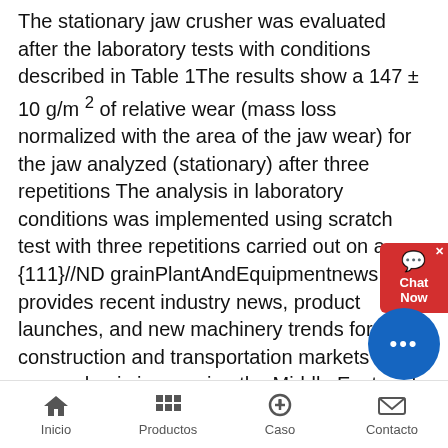The stationary jaw crusher was evaluated after the laboratory tests with conditions described in Table 1The results show a 147 ± 10 g/m 2 of relative wear (mass loss normalized with the area of the jaw wear) for the jaw analyzed (stationary) after three repetitions The analysis in laboratory conditions was implemented using scratch test with three repetitions carried out on a {111}//ND grainPlantAndEquipmentnews provides recent industry news, product launches, and new machinery trends for the construction and transportation markets With an emphasis in covering the Middle East and Africa, daily reports include the following segments: heavy equipment, trucks, cranes, spare parts, asphalt & concrete plants, material handling equipment and morePlant & Equipment MagazineBetter cone crusher ORIGINAL equipment manufacturer Weir Minerals has upgraded the design of its Trio TC84XR liveshaft cone crusher with the latest technology so it can be used on mines into the future According to Weir Minerals global application director Eckhart Matthies, liveshaft cone crushers will
[Figure (other): Red chat widget in top right corner with X close button, speech bubble icon, and text 'Chat Now']
[Figure (other): Blue circular chat button in bottom right area with three dots (ellipsis) icon]
Inicio | Productos | Caso | Contacto